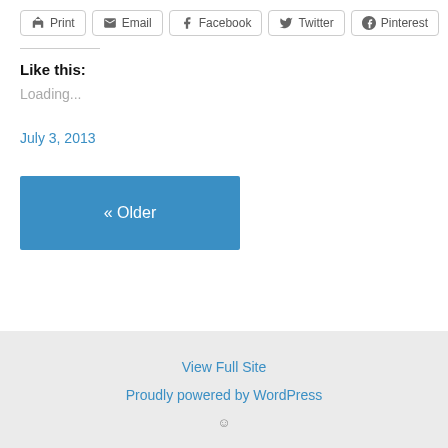[Figure (other): Row of share buttons: Print, Email, Facebook, Twitter, Pinterest]
Like this:
Loading...
July 3, 2013
« Older
View Full Site
Proudly powered by WordPress